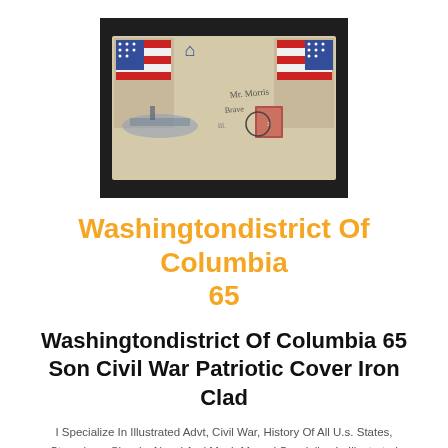[Figure (photo): Photograph of a Civil War era patriotic envelope cover with American flag and eagle imagery, handwritten address, and a postage stamp, displayed against a dark background.]
Washingtondistrict Of Columbia 65
Washingtondistrict Of Columbia 65 Son Civil War Patriotic Cover Iron Clad
I Specialize In Illustrated Advt, Civil War, History Of All U.s. States, Stampless, Classic, Naval And Much More. I Specialize In Illustrated Advt,civil War, History Of All U.s. States, Stampless, Classic, Naval And Much More.